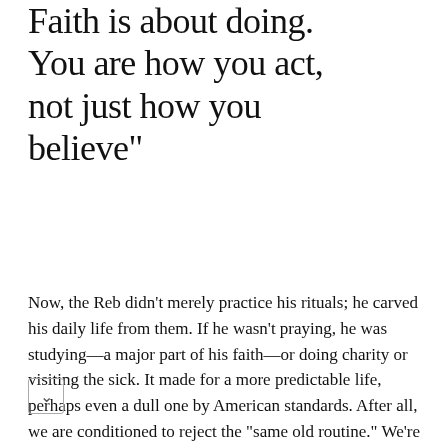Faith is about doing. You are how you act, not just how you believe"
Now, the Reb didn't merely practice his rituals; he carved his daily life from them. If he wasn't praying, he was studying—a major part of his faith—or doing charity or visiting the sick. It made for a more predictable life, perhaps even a dull one by American standards. After all, we are conditioned to reject the "same old routine." We're supposed to keep things new, fresh. The wasn't into fresh. He never took up fads. He